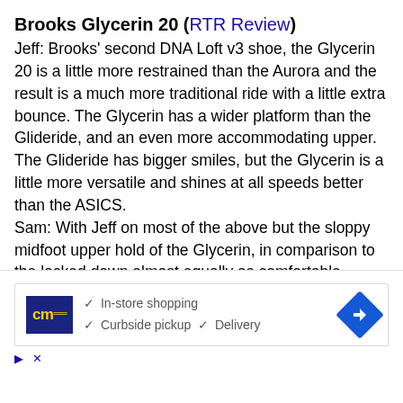Brooks Glycerin 20 (RTR Review)
Jeff: Brooks' second DNA Loft v3 shoe, the Glycerin 20 is a little more restrained than the Aurora and the result is a much more traditional ride with a little extra bounce. The Glycerin has a wider platform than the Glideride, and an even more accommodating upper. The Glideride has bigger smiles, but the Glycerin is a little more versatile and shines at all speeds better than the ASICS.
Sam: With Jeff on most of the above but the sloppy midfoot upper hold of the Glycerin, in comparison to the locked down almost equally as comfortable Glideride 3 spoiled much of the fun of its superior DNA Loft v3.
New Balance Fresh Foam 1080v12 (RTR Review)
Jeff: A beefy update to New Balance's best cushioned daily
[Figure (infographic): Advertisement banner showing CM logo with checkmarks for In-store shopping, Curbside pickup, and Delivery, with a blue diamond arrow icon]